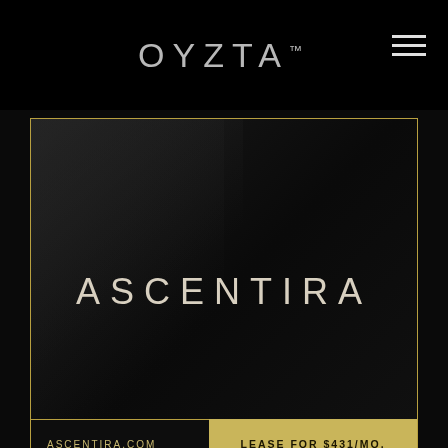OYZTA™
[Figure (logo): ASCENTIRA brand card with dark background, diagonal sheen, brand name centered, URL and lease CTA in footer]
ASCENTIRA
ASCENTIRA.COM
LEASE FOR $431/MO.
[Figure (illustration): Partial second card with dark background and crown icon in upper right]